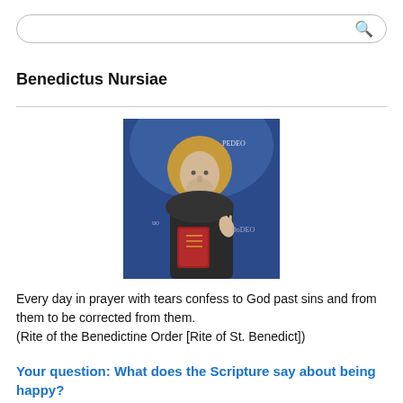Benedictus Nursiae
[Figure (illustration): Medieval fresco or painting of Saint Benedict of Nursia, shown as a monk in dark robes with a golden halo, holding a book and raising one hand in blessing, against a blue background.]
Every day in prayer with tears confess to God past sins and from them to be corrected from them.
(Rite of the Benedictine Order [Rite of St. Benedict])
Your question: What does the Scripture say about being happy?